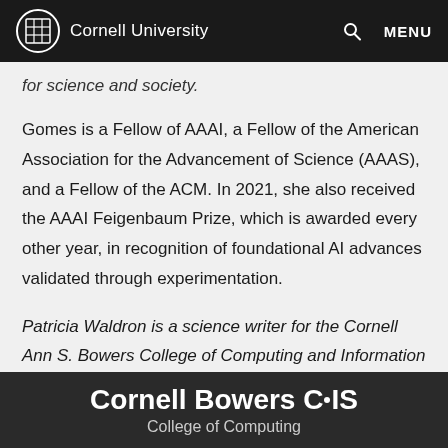Cornell University | MENU
for science and society.
Gomes is a Fellow of AAAI, a Fellow of the American Association for the Advancement of Science (AAAS), and a Fellow of the ACM. In 2021, she also received the AAAI Feigenbaum Prize, which is awarded every other year, in recognition of foundational AI advances validated through experimentation.
Patricia Waldron is a science writer for the Cornell Ann S. Bowers College of Computing and Information Science.
Cornell Bowers CIS College of Computing